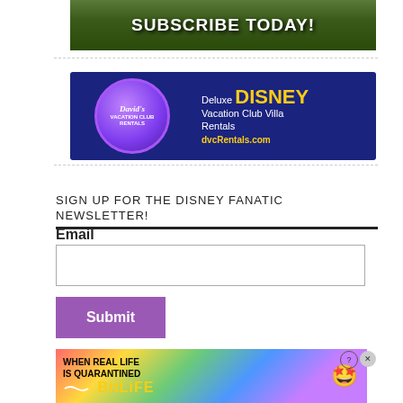[Figure (screenshot): Subscribe Today! banner with thumbnail images of videos at the top of the page]
[Figure (screenshot): David's Vacation Club Rentals advertisement banner — Deluxe DISNEY Vacation Club Villa Rentals, dvcRentals.com, dark blue background with purple circle logo]
SIGN UP FOR THE DISNEY FANATIC NEWSLETTER!
Email
[Figure (screenshot): Email input text field (empty)]
[Figure (screenshot): Submit button (purple/violet background)]
[Figure (screenshot): BitLife advertisement banner at bottom — WHEN REAL LIFE IS QUARANTINED, BitLife logo with colorful rainbow background and emoji character]